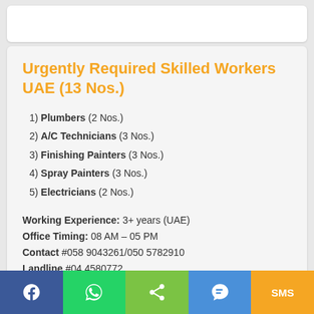Urgently Required Skilled Workers UAE (13 Nos.)
1) Plumbers (2 Nos.)
2) A/C Technicians (3 Nos.)
3) Finishing Painters (3 Nos.)
4) Spray Painters (3 Nos.)
5) Electricians (2 Nos.)
Working Experience: 3+ years (UAE)
Office Timing: 08 AM – 05 PM
Contact #058 9043261/050 5782910
Landline #04 4580772
Job published on: 25th July 2022